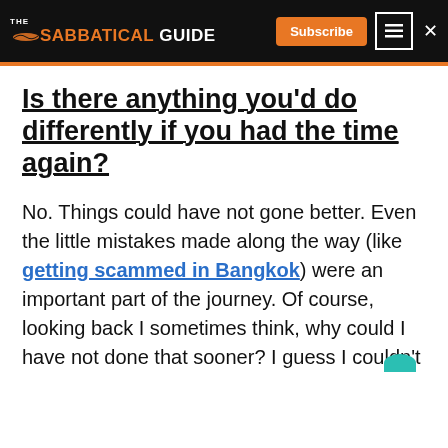The Sabbatical Guide — Subscribe
Is there anything you’d do differently if you had the time again?
No. Things could have not gone better. Even the little mistakes made along the way (like getting scammed in Bangkok) were an important part of the journey. Of course, looking back I sometimes think, why could I have not done that sooner? I guess I couldn’t